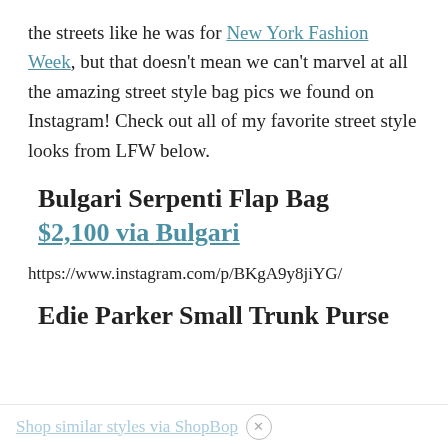the streets like he was for New York Fashion Week, but that doesn't mean we can't marvel at all the amazing street style bag pics we found on Instagram! Check out all of my favorite street style looks from LFW below.
Bulgari Serpenti Flap Bag
$2,100 via Bulgari
https://www.instagram.com/p/BKgA9y8jiYG/
Edie Parker Small Trunk Purse
Shop similar styles via ShopBop